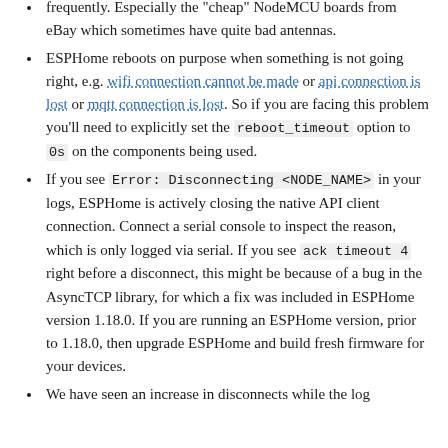frequently. Especially the "cheap" NodeMCU boards from eBay which sometimes have quite bad antennas.
ESPHome reboots on purpose when something is not going right, e.g. wifi connection cannot be made or api connection is lost or mqtt connection is lost. So if you are facing this problem you'll need to explicitly set the reboot_timeout option to 0s on the components being used.
If you see Error: Disconnecting <NODE_NAME> in your logs, ESPHome is actively closing the native API client connection. Connect a serial console to inspect the reason, which is only logged via serial. If you see ack timeout 4 right before a disconnect, this might be because of a bug in the AsyncTCP library, for which a fix was included in ESPHome version 1.18.0. If you are running an ESPHome version, prior to 1.18.0, then upgrade ESPHome and build fresh firmware for your devices.
We have seen an increase in disconnects while the log